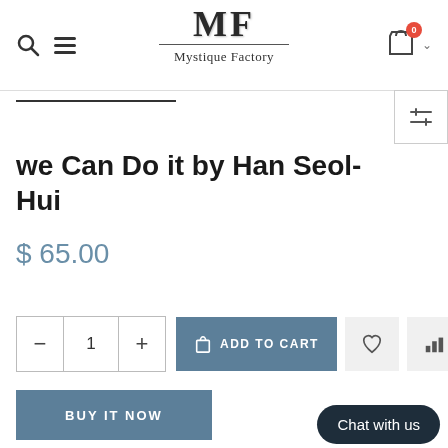MF Mystique Factory — header with search, menu, cart
we Can Do it by Han Seol-Hui
$ 65.00
− 1 + ADD TO CART
BUY IT NOW
Chat with us